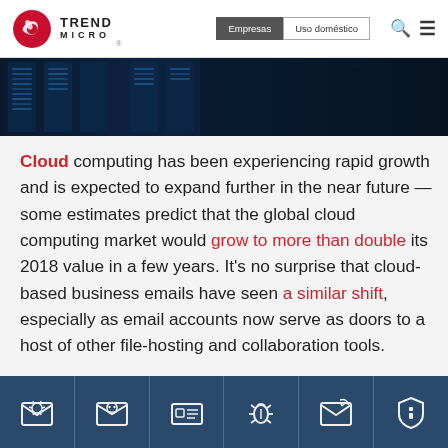Trend Micro — Empresas | Uso doméstico
[Figure (photo): Dark blue photograph of server racks in a data center]
Cloud computing has been experiencing rapid growth and is expected to expand further in the near future — some estimates predict that the global cloud computing market would grow to more than double its 2018 value in a few years. It's no surprise that cloud-based business emails have seen a similar shift, especially as email accounts now serve as doors to a host of other file-hosting and collaboration tools.
[Figure (infographic): Footer row with 6 dark blue icon cells: spam/virus email, phishing email with skull, contact/ID card, bug/vulnerability, signed email, shield/security]